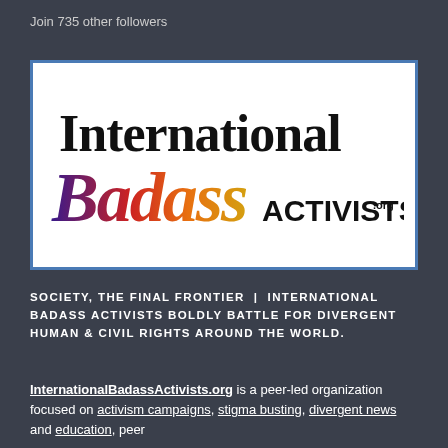Join 735 other followers
[Figure (logo): International Badass Activists logo — 'International' in large bold black serif text, 'Badass' in colorful cursive script (purple/red/orange gradient), 'ACTIVISTS.org' in bold black sans-serif caps]
SOCIETY, THE FINAL FRONTIER | INTERNATIONAL BADASS ACTIVISTS BOLDLY BATTLE FOR DIVERGENT HUMAN & CIVIL RIGHTS AROUND THE WORLD.
InternationalBadassActivists.org is a peer-led organization focused on activism campaigns, stigma busting, divergent news and education, peer